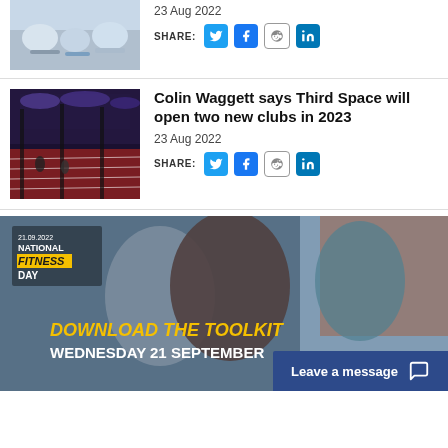[Figure (photo): Indoor gym/lounge space with round white pod chairs and teal accent tables]
23 Aug 2022
SHARE:
[Figure (photo): Indoor sports facility with running track and overhead lighting]
Colin Waggett says Third Space will open two new clubs in 2023
23 Aug 2022
SHARE:
[Figure (photo): National Fitness Day promotional banner - 21.09.2022. Text: NATIONAL FITNESS DAY. DOWNLOAD THE TOOLKIT WEDNESDAY 21 SEPTEMBER. Three women doing yoga/stretching exercises.]
Leave a message